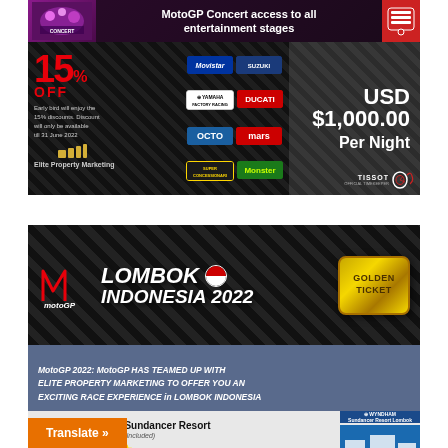[Figure (infographic): MotoGP hotel advertisement showing 15% early bird discount, sponsor logos (Movistar, Yamaha, Suzuki, Octo, Mars, Ducati, Super, Monster), USD $1,000.00 Per Night price, Tissot MotoGP official timekeeper branding, and MotoGP Concert access banner at top.]
[Figure (infographic): MotoGP Lombok Indonesia 2022 advertisement with Golden Ticket, tagline 'MotoGP 2022: MotoGP HAS TEAMED UP WITH ELITE PROPERTY MARKETING TO OFFER YOU AN EXCITING RACE EXPERIENCE in LOMBOK INDONESIA', Wyndham Sundancer Resort (Airport Transfer Included), 5 stars, welcome reception with MotoGP Stars, and Translate button.]